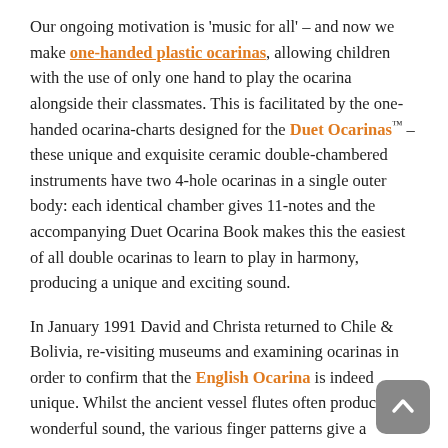Our ongoing motivation is 'music for all' – and now we make one-handed plastic ocarinas, allowing children with the use of only one hand to play the ocarina alongside their classmates. This is facilitated by the one-handed ocarina-charts designed for the Duet Ocarinas™ – these unique and exquisite ceramic double-chambered instruments have two 4-hole ocarinas in a single outer body: each identical chamber gives 11-notes and the accompanying Duet Ocarina Book makes this the easiest of all double ocarinas to learn to play in harmony, producing a unique and exciting sound.
In January 1991 David and Christa returned to Chile & Bolivia, re-visiting museums and examining ocarinas in order to confirm that the English Ocarina is indeed unique. Whilst the ancient vessel flutes often produce a wonderful sound, the various finger patterns give a maximum of five notes. In June 2003, the ocarina experts